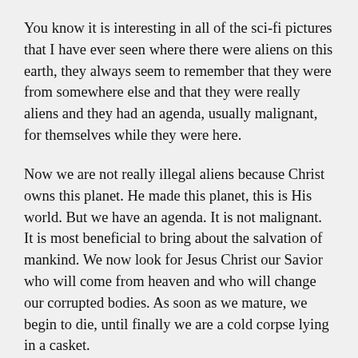You know it is interesting in all of the sci-fi pictures that I have ever seen where there were aliens on this earth, they always seem to remember that they were from somewhere else and that they were really aliens and they had an agenda, usually malignant, for themselves while they were here.
Now we are not really illegal aliens because Christ owns this planet. He made this planet, this is His world. But we have an agenda. It is not malignant. It is most beneficial to bring about the salvation of mankind. We now look for Jesus Christ our Savior who will come from heaven and who will change our corrupted bodies. As soon as we mature, we begin to die, until finally we are a cold corpse lying in a casket.
While in this body of flesh, let us do good to others on this earth, recognizing that our ultimate citizenship is in